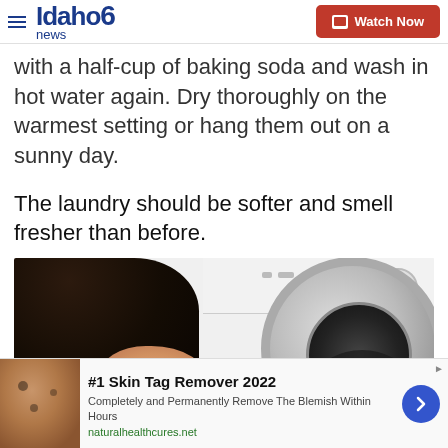Idaho News 6 — Watch Now
with a half-cup of baking soda and wash in hot water again. Dry thoroughly on the warmest setting or hang them out on a sunny day.
The laundry should be softer and smell fresher than before.
[Figure (photo): Person with dark hair looking at a white front-loading washing machine]
#1 Skin Tag Remover 2022 — Completely and Permanently Remove The Blemish Within Hours — naturalhealthcures.net